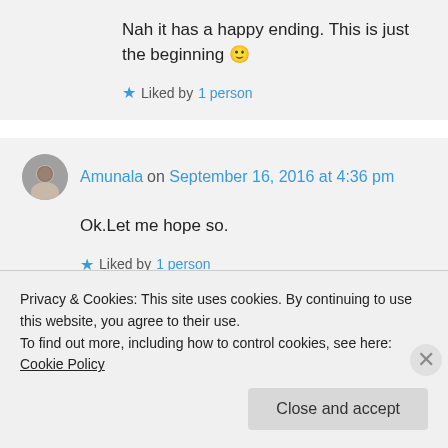Nah it has a happy ending. This is just the beginning 🙂
★ Liked by 1 person
Amunala on September 16, 2016 at 4:36 pm
Ok.Let me hope so.
★ Liked by 1 person
Privacy & Cookies: This site uses cookies. By continuing to use this website, you agree to their use.
To find out more, including how to control cookies, see here: Cookie Policy